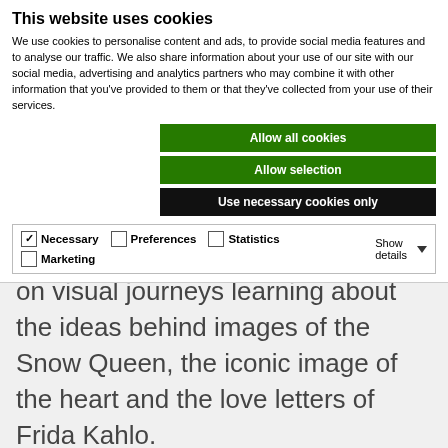This website uses cookies
We use cookies to personalise content and ads, to provide social media features and to analyse our traffic. We also share information about your use of our site with our social media, advertising and analytics partners who may combine it with other information that you've provided to them or that they've collected from your use of their services.
Allow all cookies
Allow selection
Use necessary cookies only
Necessary   Preferences   Statistics   Marketing   Show details
on visual journeys learning about the ideas behind images of the Snow Queen, the iconic image of the heart and the love letters of Frida Kahlo.
Two by Two are a new venture and have